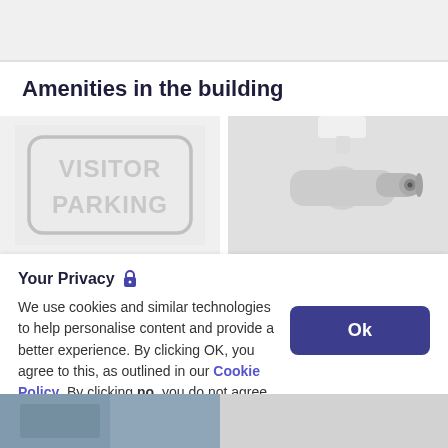Amenities in the building
[Figure (photo): Visitor parking sign (grey rounded rectangle sign reading VISITOR PARKING)]
[Figure (photo): Security camera (white bullet-style CCTV camera mounted on bracket, pointing right)]
Your Privacy 🔒
We use cookies and similar technologies to help personalise content and provide a better experience. By clicking OK, you agree to this, as outlined in our Cookie Policy. By clicking no, you do not agree.
[Figure (photo): Partial bottom strip showing two cropped building amenity photos]